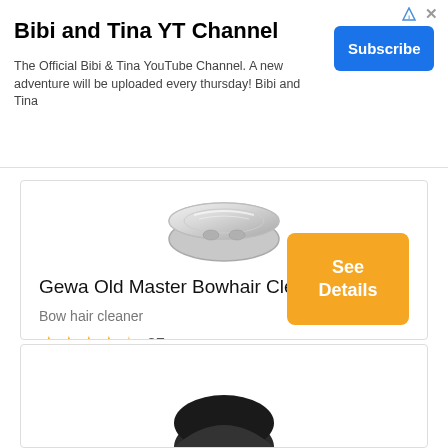[Figure (screenshot): Ad banner for Bibi and Tina YT Channel with Subscribe button]
Bibi and Tina YT Channel
The Official Bibi & Tina YouTube Channel. A new adventure will be uploaded every thursday! Bibi and Tina
[Figure (photo): Product image of Gewa Old Master Bowhair Cleaner - a round silver tin/jar]
Gewa Old Master Bowhair Cleaner
Bow hair cleaner
27
Cleanses and cares for the bow hairs
[Figure (logo): GEWA brand logo in bold black text]
[Figure (other): See Details button in orange/yellow]
[Figure (photo): Partial product image at bottom of page]